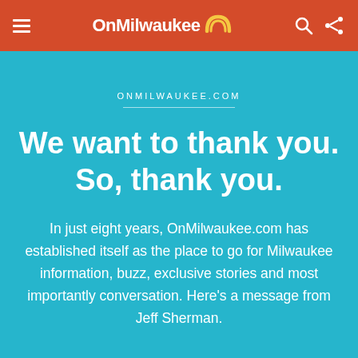OnMilwaukee
ONMILWAUKEE.COM
We want to thank you. So, thank you.
In just eight years, OnMilwaukee.com has established itself as the place to go for Milwaukee information, buzz, exclusive stories and most importantly conversation. Here's a message from Jeff Sherman.